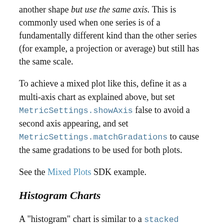another shape but use the same axis. This is commonly used when one series is of a fundamentally different kind than the other series (for example, a projection or average) but still has the same scale.
To achieve a mixed plot like this, define it as a multi-axis chart as explained above, but set MetricSettings.showAxis false to avoid a second axis appearing, and set MetricSettings.matchGradations to cause the same gradations to be used for both plots.
See the Mixed Plots SDK example.
Histogram Charts
A "histogram" chart is similar to a stacked "column" chart, showing multiple facet values vertically for each position along the x-axis / data label facet, but instead of each vertical facet value being defined by absolute value, the...